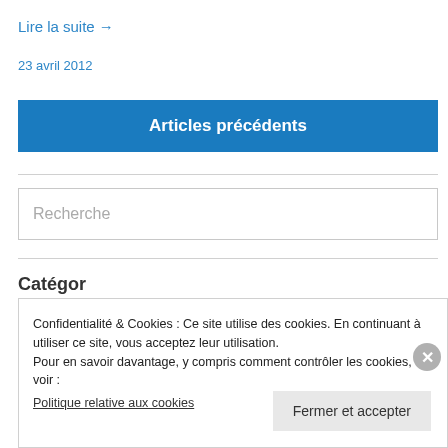Lire la suite →
23 avril 2012
Articles précédents
Recherche
Catégories
Confidentialité & Cookies : Ce site utilise des cookies. En continuant à utiliser ce site, vous acceptez leur utilisation.
Pour en savoir davantage, y compris comment contrôler les cookies, voir :
Politique relative aux cookies
Fermer et accepter